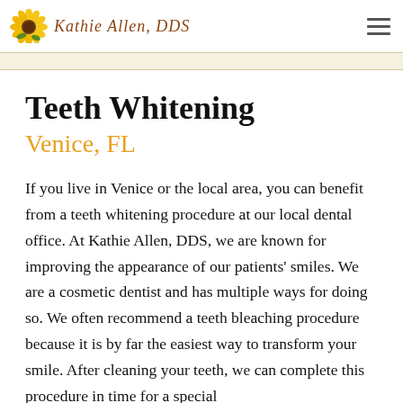Kathie Allen, DDS
Teeth Whitening
Venice, FL
If you live in Venice or the local area, you can benefit from a teeth whitening procedure at our local dental office. At Kathie Allen, DDS, we are known for improving the appearance of our patients' smiles. We are a cosmetic dentist and has multiple ways for doing so. We often recommend a teeth bleaching procedure because it is by far the easiest way to transform your smile. After cleaning your teeth, we can complete this procedure in time for a special